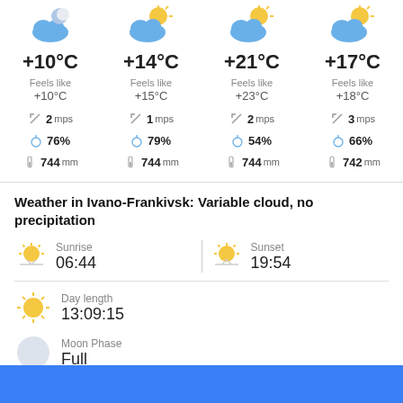[Figure (infographic): Weather forecast grid with 4 columns showing weather icons, temperatures, feels like, wind speed, humidity, and pressure for 4 time periods]
Weather in Ivano-Frankivsk: Variable cloud, no precipitation
[Figure (infographic): Sunrise icon with time 06:44]
[Figure (infographic): Sunset icon with time 19:54]
[Figure (infographic): Day length sun icon with time 13:09:15]
[Figure (infographic): Moon phase icon showing Full moon]
[Figure (infographic): Blue button bar at bottom]